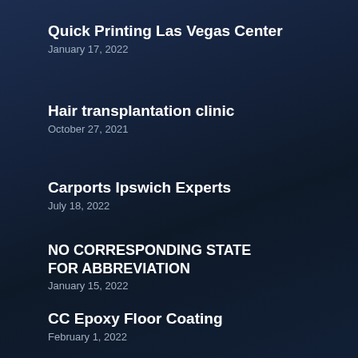Quick Printing Las Vegas Center
January 17, 2022
Hair transplantation clinic
October 27, 2021
Carports Ipswich Experts
July 18, 2022
NO CORRESPONDING STATE FOR ABBREVIATION
January 15, 2022
CC Epoxy Floor Coating
February 1, 2022